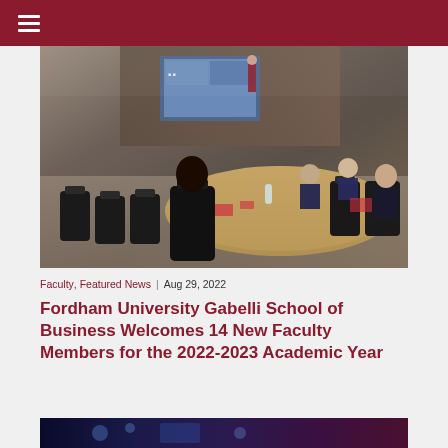Navigation menu (hamburger icon)
[Figure (photo): Conference room with faculty members seated around a large oval table, attending a presentation. A presenter stands at the front near a screen displaying slides. The room has dark leather chairs and wood-paneled walls.]
Faculty, Featured News | Aug 29, 2022
Fordham University Gabelli School of Business Welcomes 14 New Faculty Members for the 2022-2023 Academic Year
[Figure (photo): Partial bottom image strip showing dark blue/purple tones, beginning of another photo]